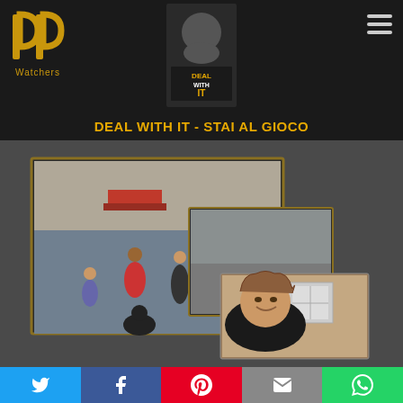[Figure (logo): PP Watchers golden stylized logo with text Watchers below]
[Figure (photo): Deal With It - Stai Al Gioco show logo with host photo]
DEAL WITH IT - STAI AL GIOCO
[Figure (screenshot): TV show screenshot showing a hidden camera scene in a public square with people walking, and a smaller inset photo of a smiling young man in the lower right]
[Figure (infographic): Social media share bar with Twitter, Facebook, Pinterest, Email, and WhatsApp buttons]